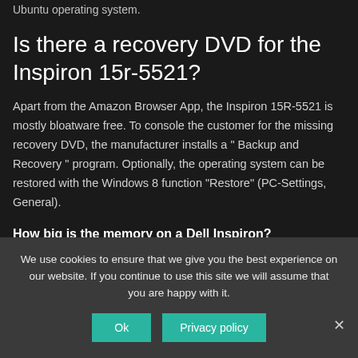Ubuntu operating system.
Is there a recovery DVD for the Inspiron 15r-5521?
Apart from the Amazon Browser App, the Inspiron 15R-5521 is mostly bloatware free. To console the customer for the missing recovery DVD, the manufacturer installs a “ Backup and Recovery ” program. Optionally, the operating system can be restored with the Windows 8 function “Restore” (PC-Settings, General).
How big is the memory on a Dell Inspiron?
We use cookies to ensure that we give you the best experience on our website. If you continue to use this site we will assume that you are happy with it.